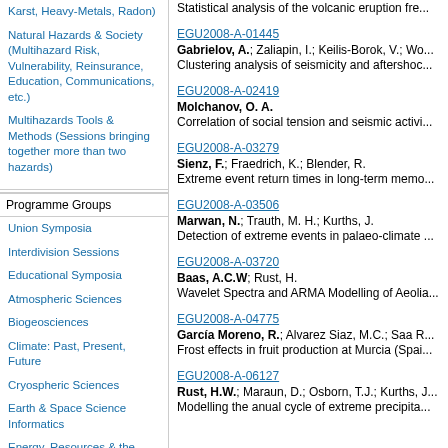Karst, Heavy-Metals, Radon)
Natural Hazards & Society (Multihazard Risk, Vulnerability, Reinsurance, Education, Communications, etc.)
Multihazards Tools & Methods (Sessions bringing together more than two hazards)
Programme Groups
Union Symposia
Interdivision Sessions
Educational Symposia
Atmospheric Sciences
Biogeosciences
Climate: Past, Present, Future
Cryospheric Sciences
Earth & Space Science Informatics
Energy, Resources & the
Statistical analysis of the volcanic eruption fre...
EGU2008-A-01445
Gabrielov, A.; Zaliapin, I.; Keilis-Borok, V.; Wo...
Clustering analysis of seismicity and aftershoc...
EGU2008-A-02419
Molchanov, O. A.
Correlation of social tension and seismic activi...
EGU2008-A-03279
Sienz, F.; Fraedrich, K.; Blender, R.
Extreme event return times in long-term memo...
EGU2008-A-03506
Marwan, N.; Trauth, M. H.; Kurths, J.
Detection of extreme events in palaeo-climate ...
EGU2008-A-03720
Baas, A.C.W; Rust, H.
Wavelet Spectra and ARMA Modelling of Aeolia...
EGU2008-A-04775
García Moreno, R.; Alvarez Siaz, M.C.; Saa R...
Frost effects in fruit production at Murcia (Spai...
EGU2008-A-06127
Rust, H.W.; Maraun, D.; Osborn, T.J.; Kurths, J...
Modelling the anual cycle of extreme precipita...